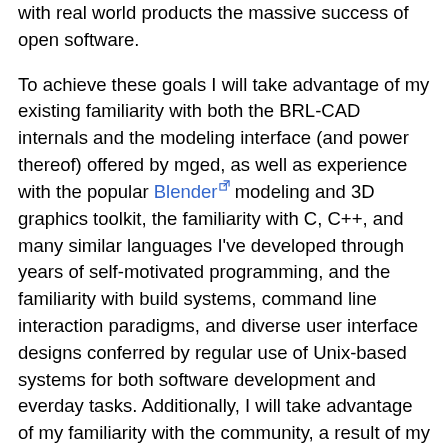with real world products the massive success of open software.
To achieve these goals I will take advantage of my existing familiarity with both the BRL-CAD internals and the modeling interface (and power thereof) offered by mged, as well as experience with the popular Blender modeling and 3D graphics toolkit, the familiarity with C, C++, and many similar languages I've developed through years of self-motivated programming, and the familiarity with build systems, command line interaction paradigms, and diverse user interface designs conferred by regular use of Unix-based systems for both software development and everday tasks. Additionally, I will take advantage of my familiarity with the community, a result of my presence on IRC for most of the past year under the nick "Ralith," to engage with the current primary users of BRL-CAD for immediate feedback on my prototypes, in the interest of creating a tool that is not only attractive to new users, but powerful and intuitive to long-time users of the system as well.